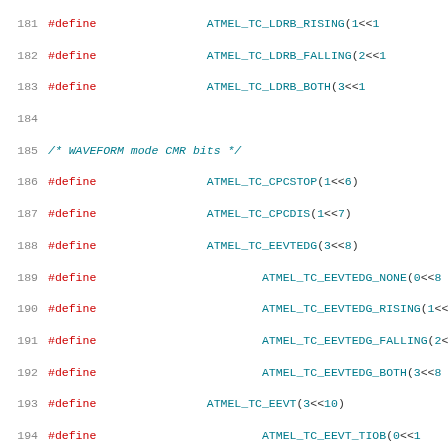181  #define  ATMEL_TC_LDRB_RISING   (1 << 18)
182  #define  ATMEL_TC_LDRB_FALLING  (2 << 18)
183  #define  ATMEL_TC_LDRB_BOTH     (3 << 18)
184
185  /* WAVEFORM mode CMR bits */
186  #define  ATMEL_TC_CPCSTOP   (1 <<  6)
187  #define  ATMEL_TC_CPCDIS    (1 <<  7)
188  #define  ATMEL_TC_EEVTEDG   (3 <<  8)
189  #define      ATMEL_TC_EEVTEDG_NONE    (0 << 8)
190  #define      ATMEL_TC_EEVTEDG_RISING  (1 << 8)
191  #define      ATMEL_TC_EEVTEDG_FALLING (2 << 8)
192  #define      ATMEL_TC_EEVTEDG_BOTH    (3 << 8)
193  #define  ATMEL_TC_EEVT      (3 << 10)
194  #define      ATMEL_TC_EEVT_TIOB  (0 << 10)
195  #define      ATMEL_TC_EEVT_XC0   (1 << 10)
196  #define      ATMEL_TC_EEVT_XC1   (2 << 10)
197  #define      ATMEL_TC_EEVT_XC2   (3 << 10)
198  #define  ATMEL_TC_ENETRG    (1 << 12)
199  #define  ATMEL_TC_WAVESEL   (3 << 13)
200  #define      ATMEL_TC_WAVESEL_UP     (0 << 13)
201  #define      ATMEL_TC_WAVESEL_UPDOWN (1 << 13)